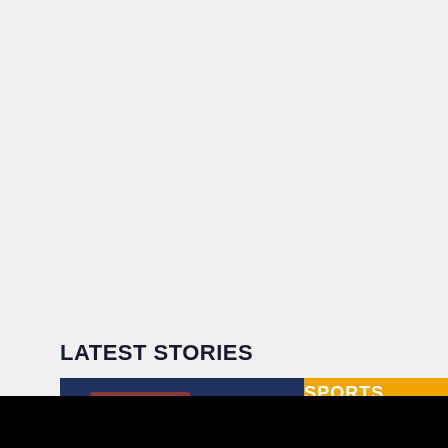LATEST STORIES
[Figure (screenshot): Partial view of a sports news card with a dark navy blue background showing two reddish-brown figure silhouettes, and an orange label reading SPORTS NEWS]
SPORTS NEWS